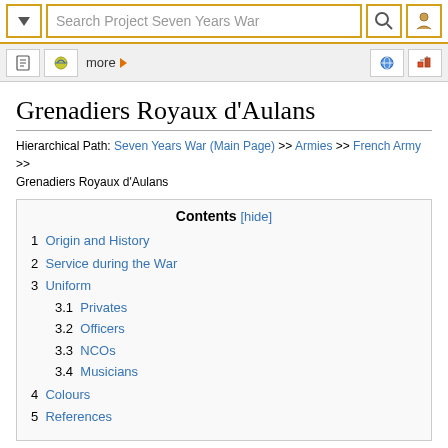Search Project Seven Years War
Grenadiers Royaux d'Aulans
Hierarchical Path: Seven Years War (Main Page) >> Armies >> French Army >> Grenadiers Royaux d'Aulans
| Contents [hide] |
| --- |
| 1  Origin and History |
| 2  Service during the War |
| 3  Uniform |
| 3.1  Privates |
| 3.2  Officers |
| 3.3  NCOs |
| 3.4  Musicians |
| 4  Colours |
| 5  References |
Origin and History